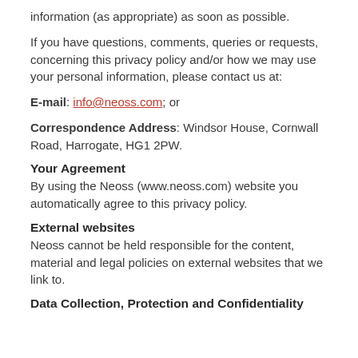information (as appropriate) as soon as possible.
If you have questions, comments, queries or requests, concerning this privacy policy and/or how we may use your personal information, please contact us at:
E-mail: info@neoss.com; or
Correspondence Address: Windsor House, Cornwall Road, Harrogate, HG1 2PW.
Your Agreement
By using the Neoss (www.neoss.com) website you automatically agree to this privacy policy.
External websites
Neoss cannot be held responsible for the content, material and legal policies on external websites that we link to.
Data Collection, Protection and Confidentiality